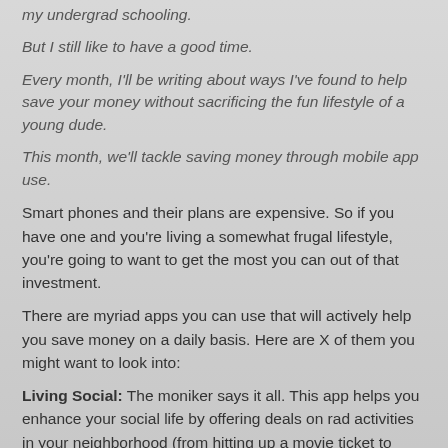my undergrad schooling.
But I still like to have a good time.
Every month, I'll be writing about ways I've found to help save your money without sacrificing the fun lifestyle of a young dude.
This month, we'll tackle saving money through mobile app use.
Smart phones and their plans are expensive. So if you have one and you're living a somewhat frugal lifestyle, you're going to want to get the most you can out of that investment.
There are myriad apps you can use that will actively help you save money on a daily basis. Here are X of them you might want to look into:
Living Social: The moniker says it all. This app helps you enhance your social life by offering deals on rad activities in your neighborhood (from hitting up a movie ticket to